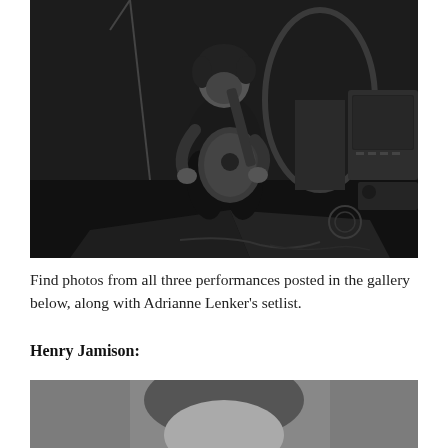[Figure (photo): Black and white photograph of a person (Adrianne Lenker) sitting on stage playing an acoustic guitar, with stage equipment and amplifiers visible in the background.]
Find photos from all three performances posted in the gallery below, along with Adrianne Lenker's setlist.
Henry Jamison:
[Figure (photo): Black and white photograph, partial view — appears to show Henry Jamison, cropped at bottom of page.]